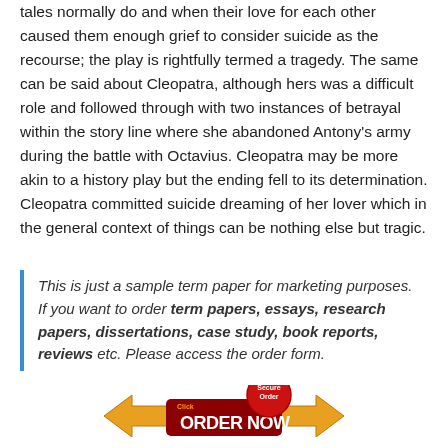tales normally do and when their love for each other caused them enough grief to consider suicide as the recourse; the play is rightfully termed a tragedy. The same can be said about Cleopatra, although hers was a difficult role and followed through with two instances of betrayal within the story line where she abandoned Antony's army during the battle with Octavius. Cleopatra may be more akin to a history play but the ending fell to its determination. Cleopatra committed suicide dreaming of her lover which in the general context of things can be nothing else but tragic.
This is just a sample term paper for marketing purposes. If you want to order term papers, essays, research papers, dissertations, case study, book reports, reviews etc. Please access the order form.
[Figure (illustration): Order Now button graphic with Secure Order badge and arrows]